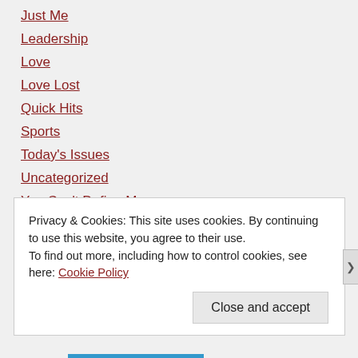Just Me
Leadership
Love
Love Lost
Quick Hits
Sports
Today's Issues
Uncategorized
You Can't Define Me
META
Privacy & Cookies: This site uses cookies. By continuing to use this website, you agree to their use.
To find out more, including how to control cookies, see here: Cookie Policy